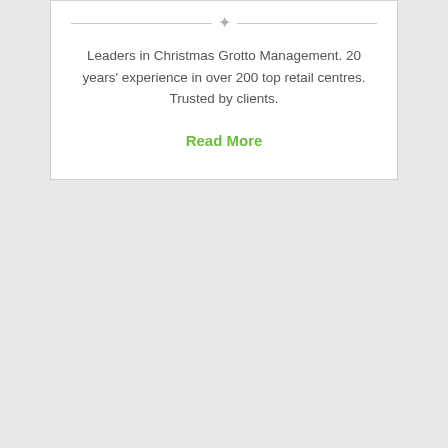Leaders in Christmas Grotto Management. 20 years' experience in over 200 top retail centres. Trusted by clients.
Read More